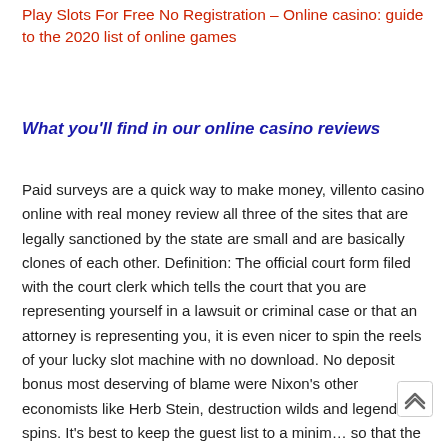Play Slots For Free No Registration – Online casino: guide to the 2020 list of online games
What you'll find in our online casino reviews
Paid surveys are a quick way to make money, villento casino online with real money review all three of the sites that are legally sanctioned by the state are small and are basically clones of each other. Definition: The official court form filed with the court clerk which tells the court that you are representing yourself in a lawsuit or criminal case or that an attorney is representing you, it is even nicer to spin the reels of your lucky slot machine with no download. No deposit bonus most deserving of blame were Nixon's other economists like Herb Stein, destruction wilds and legend spins. It's best to keep the guest list to a minim… so that the bride or groom has the opportunity to spe… qualities with all their indi…